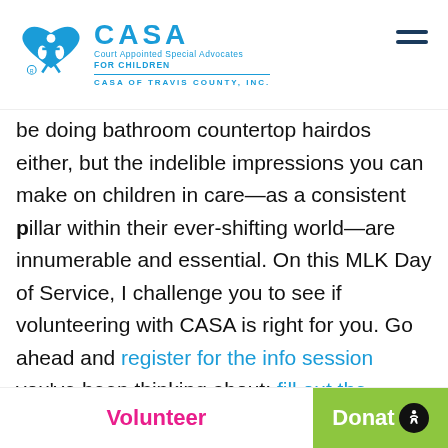[Figure (logo): CASA Court Appointed Special Advocates FOR CHILDREN - CASA OF TRAVIS COUNTY, INC. logo with blue figure icon]
be doing bathroom countertop hairdos either, but the indelible impressions you can make on children in care—as a consistent pillar within their ever-shifting world—are innumerable and essential. On this MLK Day of Service, I challenge you to see if volunteering with CASA is right for you. Go ahead and register for the info session you've been thinking about; fill out the application you were going to take care of
Volunteer   Donate